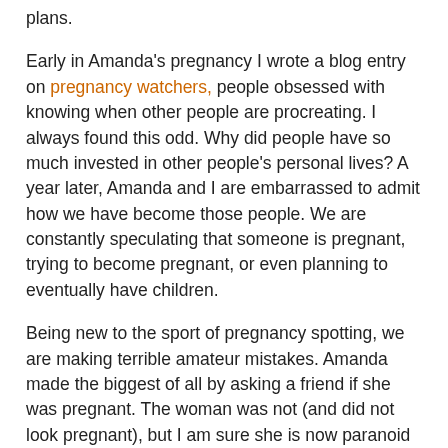plans.
Early in Amanda's pregnancy I wrote a blog entry on pregnancy watchers, people obsessed with knowing when other people are procreating.  I always found this odd.  Why did people have so much invested in other people's personal lives?  A year later, Amanda and I are embarrassed to admit how we have become those people.  We are constantly speculating that someone is pregnant, trying to become pregnant, or even planning to eventually have children.
Being new to the sport of pregnancy spotting, we are making terrible amateur mistakes.  Amanda made the biggest of all by asking a friend if she was pregnant.  The woman was not (and did not look pregnant), but I am sure she is now paranoid whenever she wears the dress she was wearing that night. I thought that was a faux pas only men made, but Amanda was so excited at the possibility that she might be pregnant she could not help herself.  I am so determined to not make that mistake that I may also be damaging friendships.  On a recent walk, Piper, Ezra and I ran into one of the few couples in Stinesville we know.  The couple asked